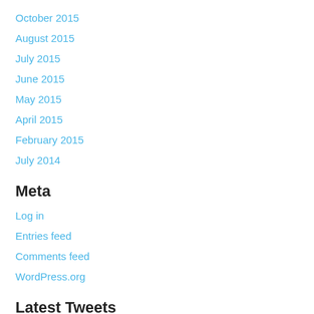October 2015
August 2015
July 2015
June 2015
May 2015
April 2015
February 2015
July 2014
Meta
Log in
Entries feed
Comments feed
WordPress.org
Latest Tweets